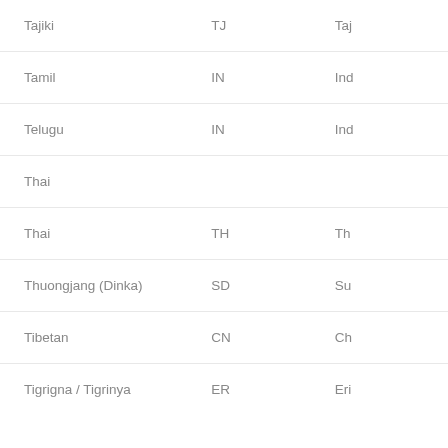| Language | Country Code | Region |
| --- | --- | --- |
| Tajiki | TJ | Taj… |
| Tamil | IN | Ind… |
| Telugu | IN | Ind… |
| Thai |  |  |
| Thai | TH | Th… |
| Thuongjang (Dinka) | SD | Su… |
| Tibetan | CN | Ch… |
| Tigrigna / Tigrinya | ER | Eri… |